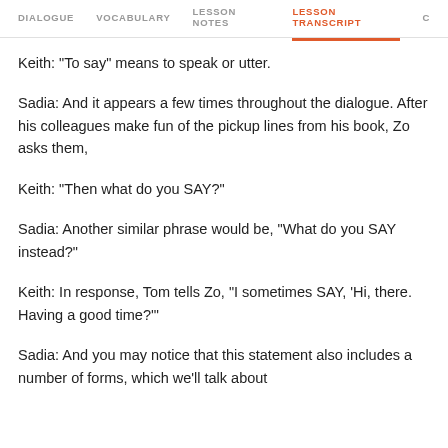DIALOGUE   VOCABULARY   LESSON NOTES   LESSON TRANSCRIPT   C
Keith: "To say" means to speak or utter.
Sadia: And it appears a few times throughout the dialogue. After his colleagues make fun of the pickup lines from his book, Zo asks them,
Keith: "Then what do you SAY?"
Sadia: Another similar phrase would be, "What do you SAY instead?"
Keith: In response, Tom tells Zo, "I sometimes SAY, 'Hi, there. Having a good time?'"
Sadia: And you may notice that this statement also includes a number of forms, which we'll talk about